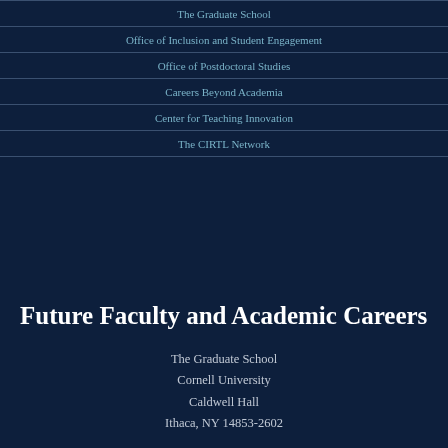The Graduate School
Office of Inclusion and Student Engagement
Office of Postdoctoral Studies
Careers Beyond Academia
Center for Teaching Innovation
The CIRTL Network
Future Faculty and Academic Careers
The Graduate School
Cornell University
Caldwell Hall
Ithaca, NY 14853-2602